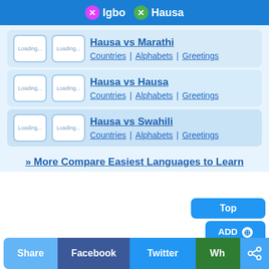Igbo  Hausa
Hausa vs Marathi | Countries | Alphabets | Greetings
Hausa vs Hausa | Countries | Alphabets | Greetings
Hausa vs Swahili | Countries | Alphabets | Greetings
» More Compare Easiest Languages to Learn
Top
ADD Compare
Share  Facebook  Twitter  Wh